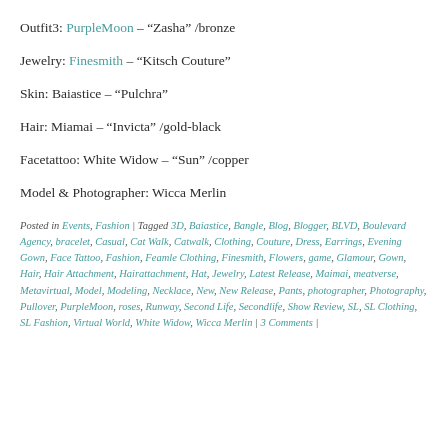Outfit3: PurpleMoon – “Zasha” /bronze
Jewelry: Finesmith – “Kitsch Couture”
Skin: Baiastice – “Pulchra”
Hair: Miamai – “Invicta” /gold-black
Facetattoo: White Widow – “Sun” /copper
Model & Photographer: Wicca Merlin
Posted in Events, Fashion | Tagged 3D, Baiastice, Bangle, Blog, Blogger, BLVD, Boulevard Agency, bracelet, Casual, Cat Walk, Catwalk, Clothing, Couture, Dress, Earrings, Evening Gown, Face Tattoo, Fashion, Feamle Clothing, Finesmith, Flowers, game, Glamour, Gown, Hair, Hair Attachment, Hairattachment, Hat, Jewelry, Latest Release, Maimai, meatverse, Metavirtual, Model, Modeling, Necklace, New, New Release, Pants, photographer, Photography, Pullover, PurpleMoon, roses, Runway, Second Life, Secondlife, Show Review, SL, SL Clothing, SL Fashion, Virtual World, White Widow, Wicca Merlin | 3 Comments |